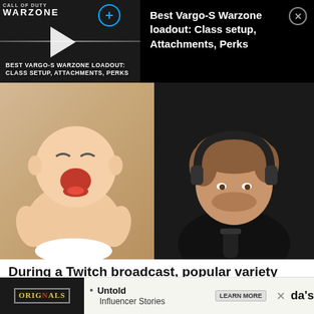[Figure (screenshot): Ad banner for 'Best Vargo-S Warzone loadout: Class setup, Attachments, Perks' with Call of Duty Warzone logo, crosshair icon, video thumbnail with play button, and close button (X)]
[Figure (photo): Side-by-side image: a crying baby on the left and a young male streamer wearing headphones on the right, sitting in front of a microphone]
During a Twitch broadcast, popular variety streamer Sodap... After... da's
[Figure (screenshot): Bottom ad bar with Originals logo on left, bullet point 'Untold Influencer Stories' in middle, and LEARN MORE button on right, with X close button]